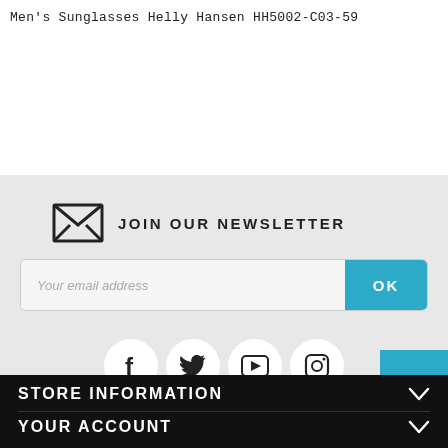Men's Sunglasses Helly Hansen HH5002-C03-59
JOIN OUR NEWSLETTER
Your email address
OK
[Figure (infographic): Social media icons row: Facebook, Twitter, YouTube, Instagram — each in a white circle on grey background]
[Figure (infographic): Scroll-to-top button: blue square with white upward chevron arrow]
STORE INFORMATION
YOUR ACCOUNT